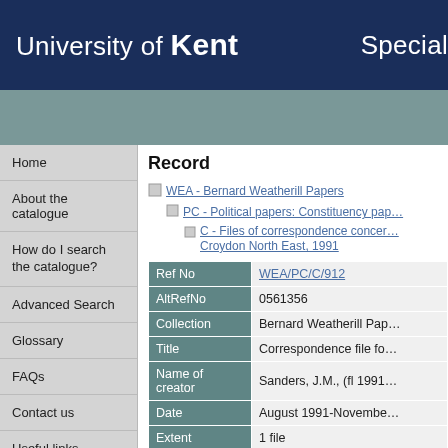University of Kent | Special
Record
WEA - Bernard Weatherill Papers
PC - Political papers: Constituency papers
C - Files of correspondence concerning... Croydon North East, 1991
| Field | Value |
| --- | --- |
| Ref No | WEA/PC/C/912 |
| AltRefNo | 0561356 |
| Collection | Bernard Weatherill Pap... |
| Title | Correspondence file fo... |
| Name of creator | Sanders, J.M., (fl 1991... |
| Date | August 1991-Novembe... |
| Extent | 1 file |
| Description | Concerns her complain... |